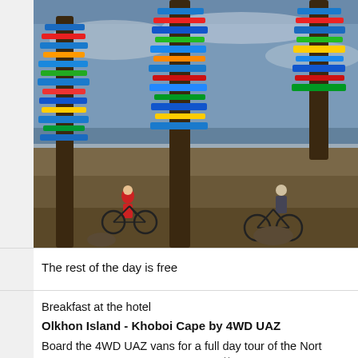[Figure (photo): Photograph of prayer-flag-wrapped wooden poles (shamanistic totems) on a hillside on Olkhon Island; two cyclists and bicycles visible between the colorful poles; overcast sky and lake in background]
The rest of the day is free
Breakfast at the hotel
Olkhon Island - Khoboi Cape by 4WD UAZ
Board the 4WD UAZ vans for a full day tour of the Nort Our trip today is to the cape Khoboi** with stops at the places.
When we arrive at the northern point we will hike to th